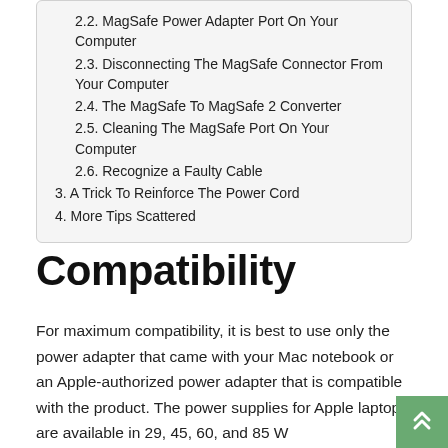2.2. MagSafe Power Adapter Port On Your Computer
2.3. Disconnecting The MagSafe Connector From Your Computer
2.4. The MagSafe To MagSafe 2 Converter
2.5. Cleaning The MagSafe Port On Your Computer
2.6. Recognize a Faulty Cable
3. A Trick To Reinforce The Power Cord
4. More Tips Scattered
Compatibility
For maximum compatibility, it is best to use only the power adapter that came with your Mac notebook or an Apple-authorized power adapter that is compatible with the product. The power supplies for Apple laptops are available in 29, 45, 60, and 85 W